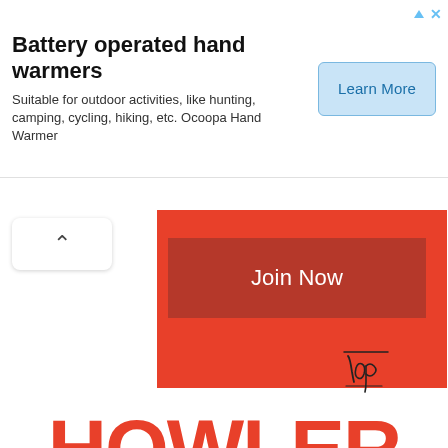[Figure (screenshot): Advertisement banner for battery operated hand warmers by Ocoopa. Contains bold title 'Battery operated hand warmers', subtitle text 'Suitable for outdoor activities, like hunting, camping, cycling, hiking, etc. Ocoopa Hand Warmer', and a 'Learn More' button on the right side.]
[Figure (screenshot): Red 'Join Now' button UI element on a red background, partially visible.]
[Figure (illustration): Handwritten cursive word 'Top' with a line underneath, in black ink, used as a logo or watermark.]
HOWLER